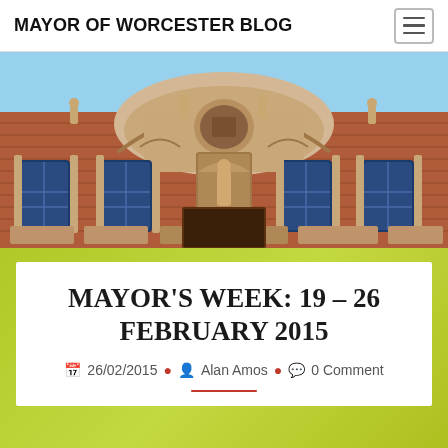MAYOR OF WORCESTER BLOG
[Figure (photo): Photograph of Worcester Guildhall facade — red brick Georgian building with ornate stone pediment, carved coat of arms, statues on roofline, arched windows with columns, and decorative entrance portal]
MAYOR'S WEEK: 19 – 26 FEBRUARY 2015
26/02/2015  Alan Amos  0 Comment